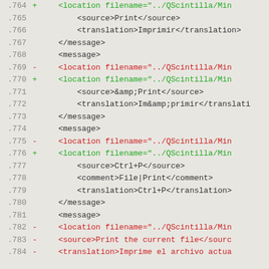Code diff showing XML translation file lines 764-784
.764  +    <location filename="../QScintilla/Min
.765       <source>Print</source>
.766       <translation>Imprimir</translation>
.767       </message>
.768       <message>
.769  -    <location filename="../QScintilla/Min
.770  +    <location filename="../QScintilla/Min
.771       <source>&amp;Print</source>
.772       <translation>Im&amp;primir</translati
.773       </message>
.774       <message>
.775  -    <location filename="../QScintilla/Min
.776  +    <location filename="../QScintilla/Min
.777       <source>Ctrl+P</source>
.778       <comment>File|Print</comment>
.779       <translation>Ctrl+P</translation>
.780       </message>
.781       <message>
.782  -    <location filename="../QScintilla/Min
.783  -    <source>Print the current file</sourc
.784  -    <translation>Imprime el archivo actua